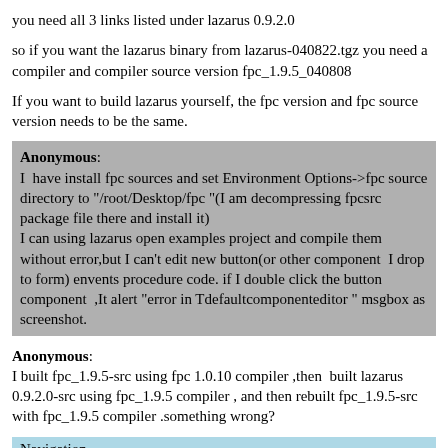you need all 3 links listed under lazarus 0.9.2.0
so if you want the lazarus binary from lazarus-040822.tgz you need a compiler and compiler source version fpc_1.9.5_040808
If you want to build lazarus yourself, the fpc version and fpc source version needs to be the same.
Anonymous:
I  have install fpc sources and set Environment Options->fpc source directory to "/root/Desktop/fpc "(I am decompressing fpcsrc package file there and install it)
I can using lazarus open examples project and compile them without error,but I can't edit new button(or other component  I drop to form) envents procedure code. if I double click the button component  ,It alert "error in Tdefaultcomponenteditor " msgbox as screenshot.
Anonymous:
I built fpc_1.9.5-src using fpc 1.0.10 compiler ,then  built lazarus 0.9.2.0-src using fpc_1.9.5 compiler , and then rebuilt fpc_1.9.5-src with fpc_1.9.5 compiler .something wrong?
Navigation